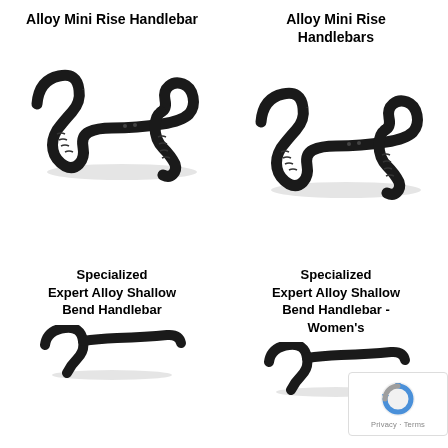Alloy Mini Rise Handlebar
[Figure (photo): Black drop handlebar - Alloy Mini Rise Handlebar, left column top product]
Alloy Mini Rise Handlebars
[Figure (photo): Black drop handlebar - Alloy Mini Rise Handlebars, right column top product]
Specialized Expert Alloy Shallow Bend Handlebar
Specialized Expert Alloy Shallow Bend Handlebar - Women's
[Figure (photo): Black drop handlebar - Specialized Expert Alloy Shallow Bend Handlebar, left column bottom product (partially visible)]
[Figure (photo): Black drop handlebar - Specialized Expert Alloy Shallow Bend Handlebar Women's, right column bottom product (partially visible)]
[Figure (other): Google reCAPTCHA badge with Privacy and Terms links]